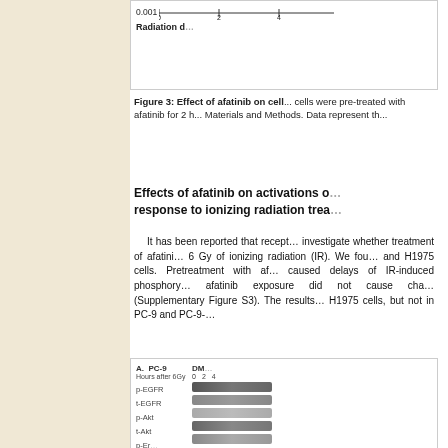[Figure (other): Partial view of Figure 3 showing axis stub with value 0.001 and x-axis labels 0, 2, 4 and label 'Radiation d']
Figure 3: Effect of afatinib on cell... cells were pre-treated with afatinib for 2 h... Materials and Methods. Data represent th...
Effects of afatinib on activations of ... response to ionizing radiation trea...
It has been reported that recept... investigate whether treatment of afatini... 6 Gy of ionizing radiation (IR). We fou... and H1975 cells. Pretreatment with af... caused delays of IR-induced phosphory... afatinib exposure did not cause cha... (Supplementary Figure S3). The results... H1975 cells, but not in PC-9 and PC-9-...
[Figure (other): Western blot panel showing PC-9 and DM... columns with rows p-EGFR, t-EGFR, p-Akt, t-Akt, p-Er... Hours after 6Gy: 0, 2, 4]